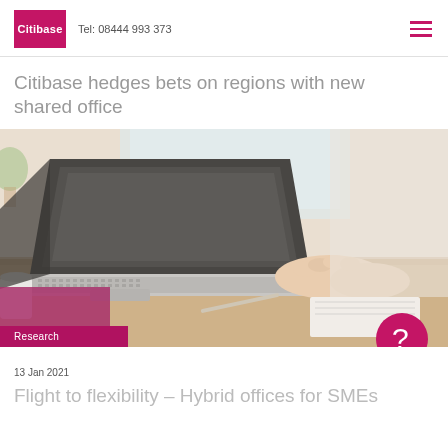Citibase  Tel: 08444 993 373
Citibase hedges bets on regions with new shared office
[Figure (photo): Person working on a laptop at a wooden desk, with a notebook and pen beside the laptop. Light background with a window. Research badge overlaid at bottom-left.]
13 Jan 2021
Flight to flexibility – Hybrid offices for SMEs